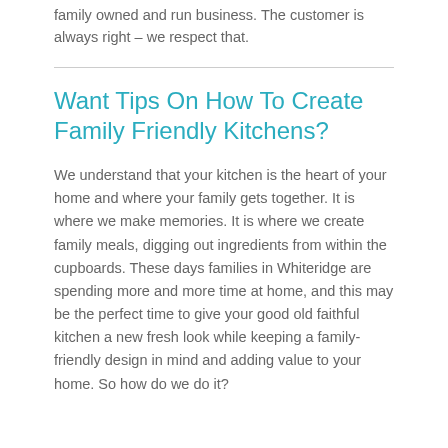family owned and run business. The customer is always right – we respect that.
Want Tips On How To Create Family Friendly Kitchens?
We understand that your kitchen is the heart of your home and where your family gets together. It is where we make memories. It is where we create family meals, digging out ingredients from within the cupboards. These days families in Whiteridge are spending more and more time at home, and this may be the perfect time to give your good old faithful kitchen a new fresh look while keeping a family-friendly design in mind and adding value to your home. So how do we do it?